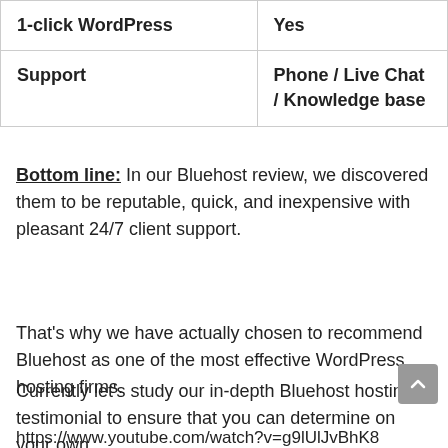| 1-click WordPress | Yes |
| Support | Phone / Live Chat / Knowledge base |
Bottom line: In our Bluehost review, we discovered them to be reputable, quick, and inexpensive with pleasant 24/7 client support.
That's why we have actually chosen to recommend Bluehost as one of the most effective WordPress hosting firms.
Currently let's study our in-depth Bluehost hosting testimonial to ensure that you can determine on your own.
https://www.youtube.com/watch?v=g9lUlJvBhK8